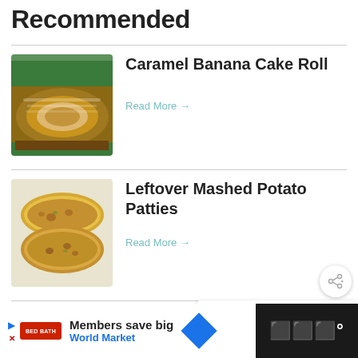Recommended
[Figure (photo): Caramel Banana Cake Roll – a rolled sponge cake dusted with powdered sugar on a wooden surface]
Caramel Banana Cake Roll
Read More →
[Figure (photo): Leftover Mashed Potato Patties – golden fried potato cakes on parchment paper]
Leftover Mashed Potato Patties
Read More →
[Figure (photo): Instant Pot Swiss Steak – beef steak with tomatoes and peppers on a plate]
Instant Pot Swiss Steak
WHAT'S NEXT → Pecan Pie Pumpkin...
Members save big World Market